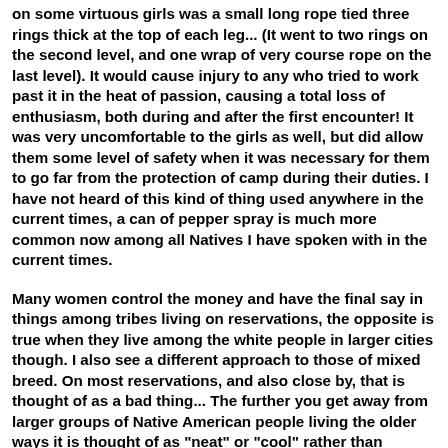on some virtuous girls was a small long rope tied three rings thick at the top of each leg... (It went to two rings on the second level, and one wrap of very course rope on the last level). It would cause injury to any who tried to work past it in the heat of passion, causing a total loss of enthusiasm, both during and after the first encounter! It was very uncomfortable to the girls as well, but did allow them some level of safety when it was necessary for them to go far from the protection of camp during their duties. I have not heard of this kind of thing used anywhere in the current times, a can of pepper spray is much more common now among all Natives I have spoken with in the current times.
Many women control the money and have the final say in things among tribes living on reservations, the opposite is true when they live among the white people in larger cities though. I also see a different approach to those of mixed breed. On most reservations, and also close by, that is thought of as a bad thing... The further you get away from larger groups of Native American people living the older ways it is thought of as "neat" or "cool" rather than "having no people" or being out of place! In the days before the reservation living it was common for all others to pay large amounts of goods in